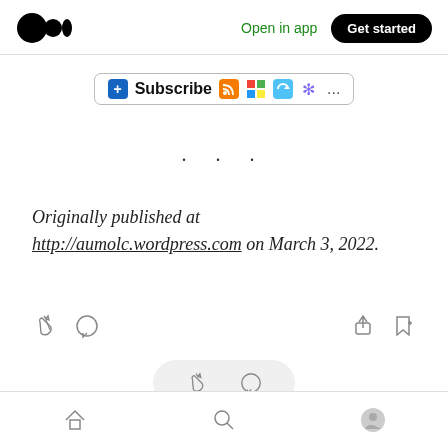Medium logo | Open in app | Get started
[Figure (screenshot): Browser toolbar showing a Subscribe button with icons including RSS, Windows, Syncing, and snowflake icons, and a '...' menu]
· · ·
Originally published at http://aumolc.wordpress.com on March 3, 2022.
[Figure (screenshot): Action bar with clap, comment, share, and bookmark icons]
[Figure (screenshot): Bottom pill with clap and comment icons]
Navigation bar with home, search, and profile icons